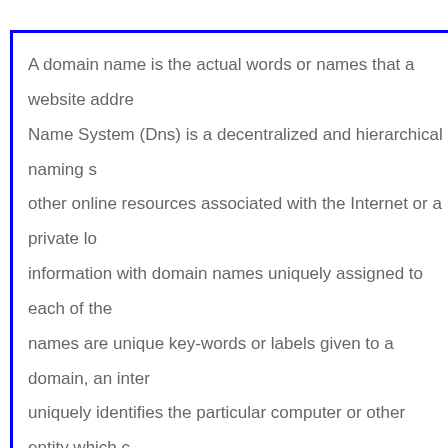A domain name is the actual words or names that a website addre... Name System (Dns) is a decentralized and hierarchical naming s... other online resources associated with the Internet or a private lo... information with domain names uniquely assigned to each of the... names are unique key-words or labels given to a domain, an inter... uniquely identifies the particular computer or other entity which ... An IP address is actually a series of numbers used together with a... computer or server. In simple terms, the IP address is a string of n... specific computer or server in the network. Similarly, a domain n...